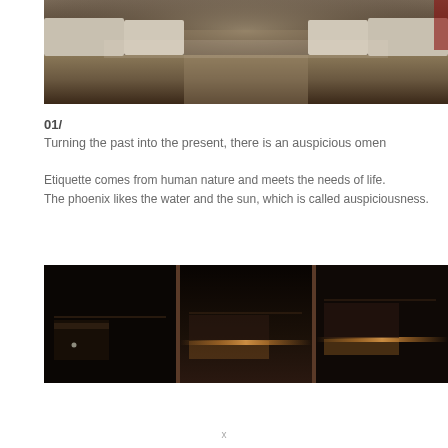[Figure (photo): Banquet hall or conference room with white chair covers arranged around tables on an ornate carpet, viewed from the front, dark atmospheric lighting]
01/
Turning the past into the present, there is an auspicious omen
Etiquette comes from human nature and meets the needs of life.
The phoenix likes the water and the sun, which is called auspiciousness.
[Figure (photo): Dark interior shelving or cabinet display with three vertical panels separated by dark wooden dividers, warm amber shelf lighting at bottom]
x